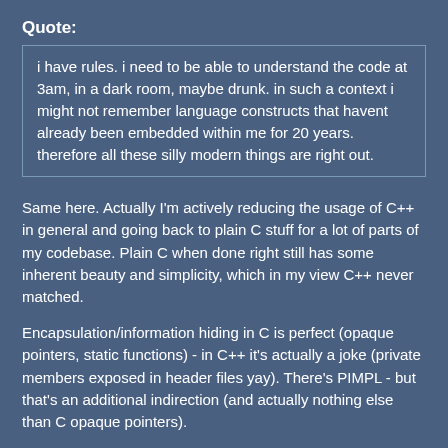Quote:
i have rules. i need to be able to understand the code at 3am, in a dark room, maybe drunk. in such a context i might not remember language constructs that havent already been embedded within me for 20 years. therefore all these silly modern things are right out.
Same here. Actually I'm actively reducing the usage of C++ in general and going back to plain C stuff for a lot of parts of my codebase. Plain C when done right still has some inherent beauty and simplicity, which in my view C++ never matched.
Encapsulation/information hiding in C is perfect (opaque pointers, static functions) - in C++ it's actually a joke (private members exposed in header files yay). There's PIMPL - but that's an additional indirection (and actually nothing else than C opaque pointers).
Having like 5-10 different smart pointer types in C++1x is pure madness to me. I see people slapping them all over the place in their ugly::namespace::ridden codebase.
You need to THINK about memory ownership - to do a good software design you need to have a clear idea about who owns what. Just